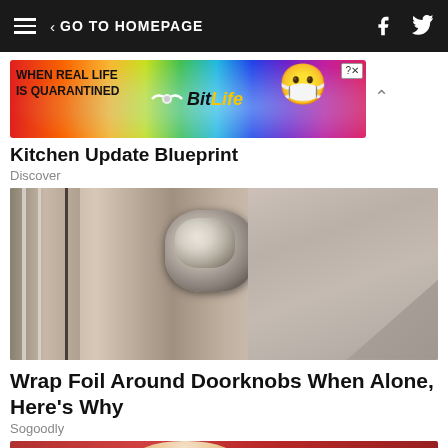GO TO HOMEPAGE
[Figure (photo): Advertisement banner for BitLife app showing rainbow background, masked emoji, and text 'WHEN REAL LIFE IS QUARANTINED']
Kitchen Update Blueprint
Discover
[Figure (photo): Photo of a door knob wrapped in aluminum foil, mounted on a wooden door with neutral paint]
Wrap Foil Around Doorknobs When Alone, Here's Why
Sogoodly
[Figure (photo): Partial view of a person's face, cropped at bottom of page, with red background]